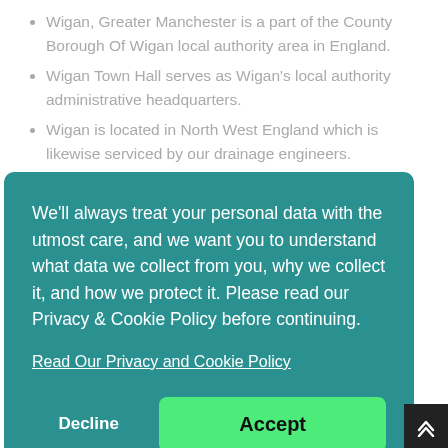Wigan, Greater Manchester is a part of the County Borough Of Wigan local authority area in England.
Wigan Town Hall serves as Wigan's local authority administrative headquarters.
Wigan is located in North West England which is likewise serviced by our drainage engineers.
Subdivisions of the Town of Wigan include but are not limited to Worthington, Hindley and Chorleton...
We'll always treat your personal data with the utmost care, and we want you to understand what data we collect from you, why we collect it, and how we protect it. Please read our Privacy & Cookie Policy before continuing.
Read Our Privacy and Cookie Policy
Decline
Accept
Whelley, Worsley Mesnes, Goose Green, Orrell, and